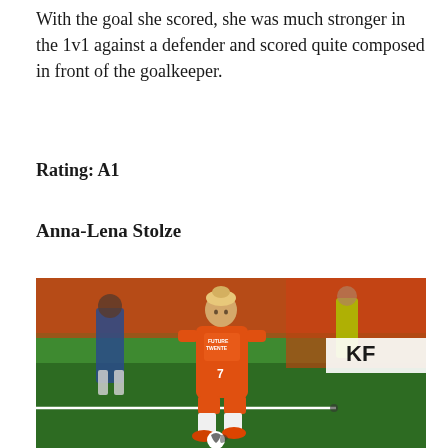With the goal she scored, she was much stronger in the 1v1 against a defender and scored quite composed in front of the goalkeeper.
Rating: A1
Anna-Lena Stolze
[Figure (photo): Action photo of Anna-Lena Stolze, a female footballer wearing an orange FC Twente jersey with number 7 and 'Future Twente' sponsor, dribbling a ball on a green pitch. A coach in blue stands in the background along with orange stadium seating and a KP advertisement board.]